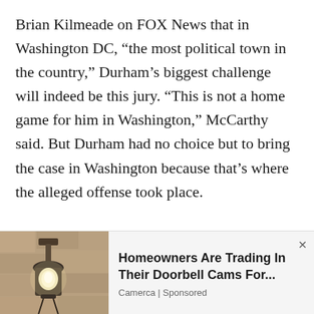Brian Kilmeade on FOX News that in Washington DC, “the most political town in the country,” Durham’s biggest challenge will indeed be this jury. “This is not a home game for him in Washington,” McCarthy said. But Durham had no choice but to bring the case in Washington because that’s where the alleged offense took place.

McCarthy was impressed that they seated a jury in one day, but he does take that as a sign that this judge wants
[Figure (photo): Photo of a wall-mounted outdoor light fixture with a white bulb, mounted on a stone or stucco wall]
Homeowners Are Trading In Their Doorbell Cams For... Camerca | Sponsored